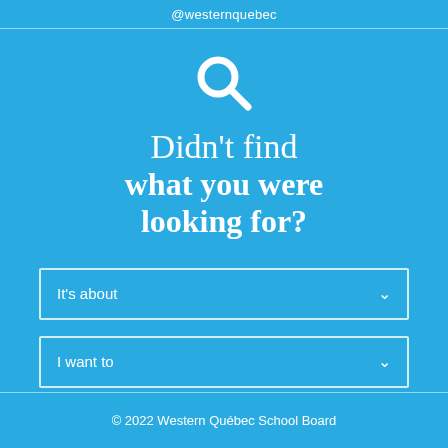@westernquebec
[Figure (illustration): White magnifying glass search icon on blue background]
Didn't find what you were looking for?
It's about
I want to
© 2022 Western Québec School Board